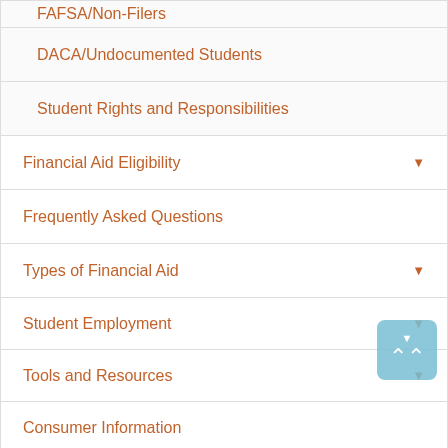FAFSA/Non-Filers (partial, cut off at top)
DACA/Undocumented Students
Student Rights and Responsibilities
Financial Aid Eligibility
Frequently Asked Questions
Types of Financial Aid
Student Employment
Tools and Resources
Consumer Information
Financial Aid Forms
Financial Aid Team (partial)